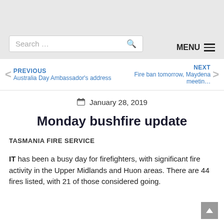Search ... MENU
PREVIOUS Australia Day Ambassador's address | NEXT Fire ban tomorrow, Maydena meetin...
January 28, 2019
Monday bushfire update
TASMANIA FIRE SERVICE
IT has been a busy day for firefighters, with significant fire activity in the Upper Midlands and Huon areas. There are 44 fires listed, with 21 of those considered going.